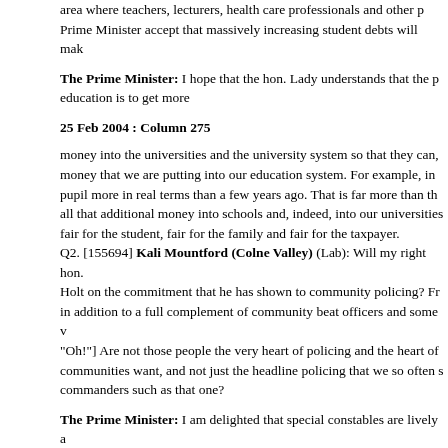area where teachers, lecturers, health care professionals and other p... Prime Minister accept that massively increasing student debts will mak...
The Prime Minister: I hope that the hon. Lady understands that the p... education is to get more
25 Feb 2004 : Column 275
money into the universities and the university system so that they can,... money that we are putting into our education system. For example, in... pupil more in real terms than a few years ago. That is far more than th... all that additional money into schools and, indeed, into our universities... fair for the student, fair for the family and fair for the taxpayer. Q2. [155694] Kali Mountford (Colne Valley) (Lab): Will my right hon.... Holt on the commitment that he has shown to community policing? Fr... in addition to a full complement of community beat officers and some v... "Oh!"] Are not those people the very heart of policing and the heart of... communities want, and not just the headline policing that we so often s... commanders such as that one?
The Prime Minister: I am delighted that special constables are lively a... throughout the country. There are about 11,000 special constables in t... 3,000 community support officers and record numbers of police today.... Office budget significantly over the past few years. We will carry on in... will not adopt, which is to freeze the Home Office budget in cash terms... Conservative party—and, obviously, fewer police.
Mr. Michael Howard (Folkestone and Hythe) (Con): In his manifesto... council tax increases. Under his Government, council tax has gone up... promise?